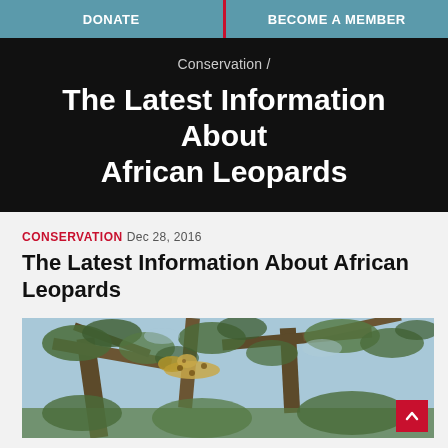DONATE | BECOME A MEMBER
Conservation /
The Latest Information About African Leopards
CONSERVATION Dec 28, 2016
The Latest Information About African Leopards
[Figure (photo): A leopard in a tree, viewed from below with branches and sky visible]